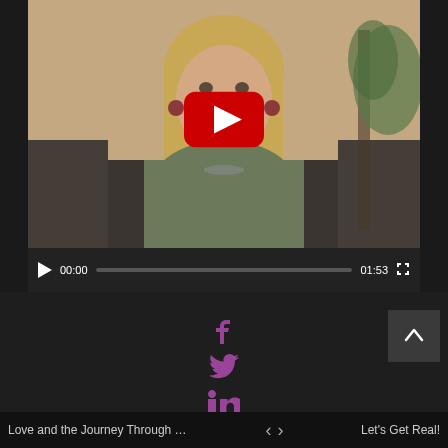[Figure (screenshot): YouTube video player showing a woman with blonde hair sitting on a couch in a green jacket, with a YouTube play button overlay. Video controls show 00:00 current time and 01:53 total duration with a progress bar.]
[Figure (infographic): Social media sharing icons for Facebook (f), Twitter (bird), and LinkedIn (in) displayed vertically in purple/mauve color on dark background. A scroll-to-top button with upward arrow is shown in the bottom right.]
Love and the Journey Through Il...   <   >   Let's Get Real!